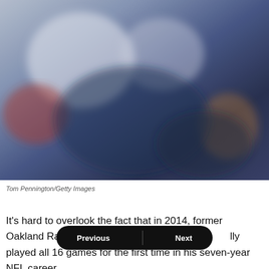[Figure (photo): Blurred sports/football photograph, likely NFL players, with dark navy and white/grey tones and a red element on left side]
Tom Pennington/Getty Images
It’s hard to overlook the fact that in 2014, former Oakland Raiders running [back] finally played all 16 games for the first time in his seven-year NFL career